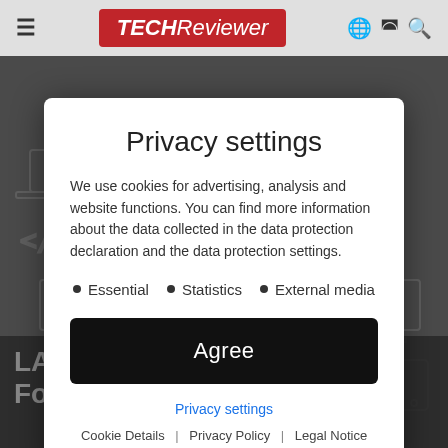TECHReviewer
Privacy settings
We use cookies for advertising, analysis and website functions. You can find more information about the data collected in the data protection declaration and the data protection settings.
Essential
Statistics
External media
Agree
Privacy settings
Cookie Details | Privacy Policy | Legal Notice
LAOTIE FT100 E-Bike - Foldable, 1000W powerful